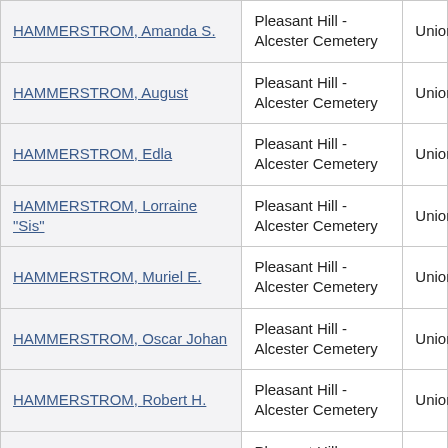| Name | Cemetery | County |
| --- | --- | --- |
| HAMMERSTROM, Amanda S. | Pleasant Hill - Alcester Cemetery | Union |
| HAMMERSTROM, August | Pleasant Hill - Alcester Cemetery | Union |
| HAMMERSTROM, Edla | Pleasant Hill - Alcester Cemetery | Union |
| HAMMERSTROM, Lorraine "Sis" | Pleasant Hill - Alcester Cemetery | Union |
| HAMMERSTROM, Muriel E. | Pleasant Hill - Alcester Cemetery | Union |
| HAMMERSTROM, Oscar Johan | Pleasant Hill - Alcester Cemetery | Union |
| HAMMERSTROM, Robert H. | Pleasant Hill - Alcester Cemetery | Union |
| HAMMERSTROM, Todd K. | Pleasant Hill - Alcester Cemetery | Union |
| HAMMERSTROM, Victor | Pleasant Hill - Alcester Cemetery | Union |